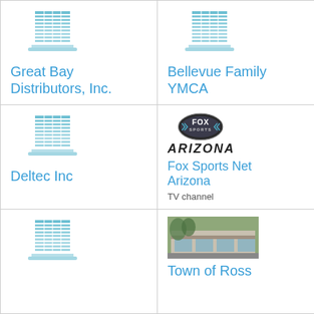[Figure (logo): Generic building/company icon for Great Bay Distributors, Inc.]
Great Bay Distributors, Inc.
[Figure (logo): Generic building/company icon for Bellevue Family YMCA]
Bellevue Family YMCA
[Figure (logo): Generic building/company icon for Deltec Inc]
Deltec Inc
[Figure (logo): Fox Sports Arizona logo with oval badge and ARIZONA text]
Fox Sports Net Arizona
TV channel
[Figure (logo): Generic building/company icon]
[Figure (photo): Photo of Town of Ross building/storefront]
Town of Ross